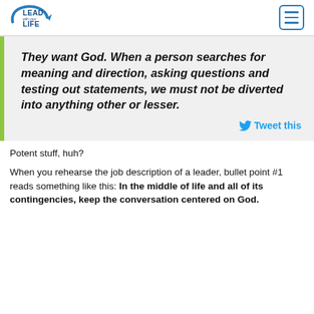Lead With Your Life
They want God. When a person searches for meaning and direction, asking questions and testing out statements, we must not be diverted into anything other or lesser.
Potent stuff, huh?
When you rehearse the job description of a leader, bullet point #1 reads something like this: In the middle of life and all of its contingencies, keep the conversation centered on God.